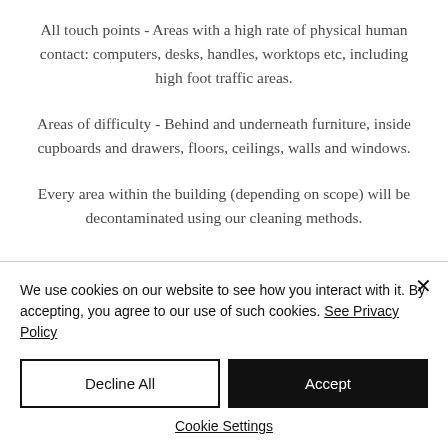All touch points - Areas with a high rate of physical human contact: computers, desks, handles, worktops etc, including high foot traffic areas.
Areas of difficulty - Behind and underneath furniture, inside cupboards and drawers, floors, ceilings, walls and windows.
Every area within the building (depending on scope) will be decontaminated using our cleaning methods.
We use cookies on our website to see how you interact with it. By accepting, you agree to our use of such cookies. See Privacy Policy
Decline All
Accept
Cookie Settings